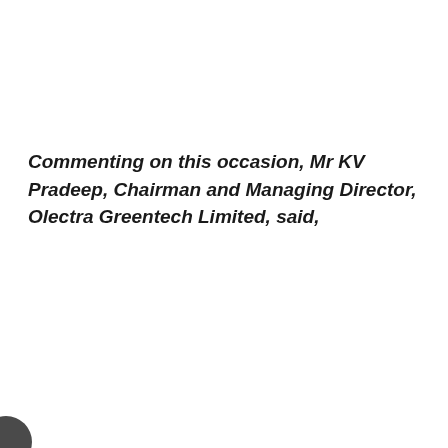Commenting on this occasion, Mr KV Pradeep, Chairman and Managing Director, Olectra Greentech Limited, said,